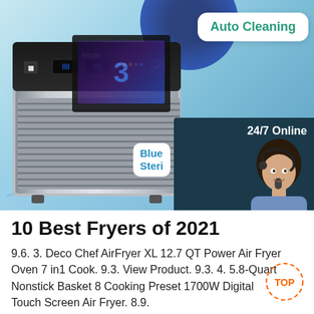[Figure (photo): Product advertisement image showing a stainless steel commercial ice maker machine (lecon brand) with blue water splash background, Auto Cleaning badge in top right, a dark teal panel on right showing '24/7 Online' text with a female customer service representative wearing a headset, and a 'Blue Steri' label. Below the image is text about best fryers and a QUOTATION button.]
10 Best Fryers of 2021
9.6. 3. Deco Chef AirFryer XL 12.7 QT Power Air Fryer Oven 7 in1 Cook. 9.3. View Product. 9.3. 4. 5.8-Quart Nonstick Basket 8 Cooking Preset 1700W Digital Touch Screen Air Fryer. 8.9.